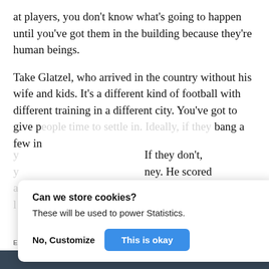at players, you don't know what's going to happen until you've got them in the building because they're human beings.
Take Glatzel, who arrived in the country without his wife and kids. It's a different kind of football with different training in a different city. You've got to give people time to settle in. Ideally, if they bang a few in … If they don't, … ney. He scored … He's not a …
Can we store cookies?
These will be used to power Statistics.
No, Customize     This is okay
Embed from Getty Images
[Figure (photo): Football match photo showing players in yellow-green and blue-white kits on a pitch, crowd in background. Toggle/switch UI element overlaid in bottom-left corner.]